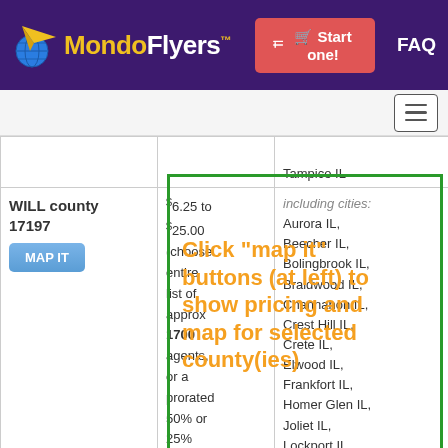MondoFlyers™ — Start one! FAQ
| County | Price | Cities |
| --- | --- | --- |
|  |  | Tampico IL |
| WILL county 17197 [MAP IT] | $6.25 to $25.00 (choose entire list of approx 1700 agents, or a prorated 50% or 25% random subset) | including cities: Aurora IL, Beecher IL, Bolingbrook IL, Braidwood IL, Channahon IL, Crest Hill IL, Crete IL, Elwood IL, Frankfort IL, Homer Glen IL, Joliet IL, Lockport IL, Manhattan IL, Mokena IL, Monee IL |
Click "map it" buttons (at left) to show pricing and map for selected county(ies)